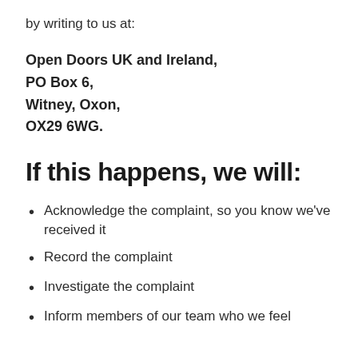by writing to us at:
Open Doors UK and Ireland,
PO Box 6,
Witney, Oxon,
OX29 6WG.
If this happens, we will:
Acknowledge the complaint, so you know we've received it
Record the complaint
Investigate the complaint
Inform members of our team who we feel